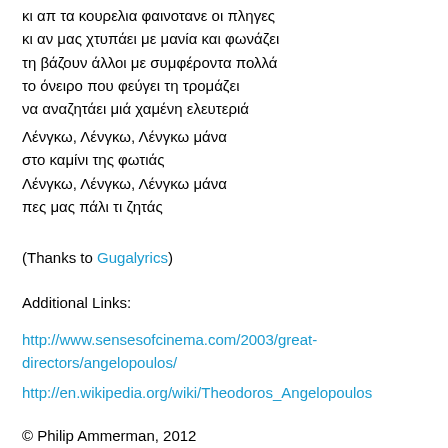κι απ τα κουρελια φαινοτανε οι πληγες
κι αν μας χτυπάει με μανία και φωνάζει
τη βάζουν άλλοι με συμφέροντα πολλά
το όνειρο που φεύγει τη τρομάζει
να αναζητάει μιά χαμένη ελευτεριά
Λένγκω, Λένγκω, Λένγκω μάνα
στο καμίνι της φωτιάς
Λένγκω, Λένγκω, Λένγκω μάνα
πες μας πάλι τι ζητάς
(Thanks to Gugalyrics)
Additional Links:
http://www.sensesofcinema.com/2003/great-directors/angelopoulos/
http://en.wikipedia.org/wiki/Theodoros_Angelopoulos
© Philip Ammerman, 2012